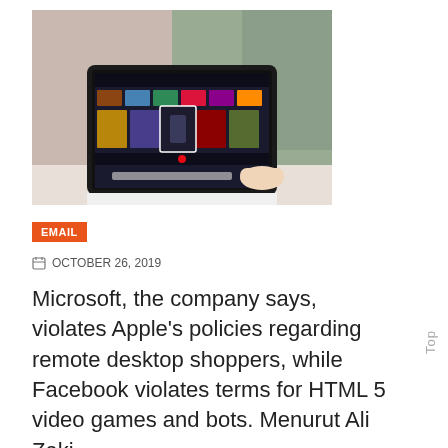[Figure (photo): A person using a desktop computer displaying a Netflix-like streaming interface with movie thumbnails, placed on a white desk, with a neutral/green background.]
EMAIL
OCTOBER 26, 2019
Microsoft, the company says, violates Apple's policies regarding remote desktop shoppers, while Facebook violates terms for HTML 5 video games and bots. Menurut Ali Zaki, pengertian hardware adalah bagian
Top